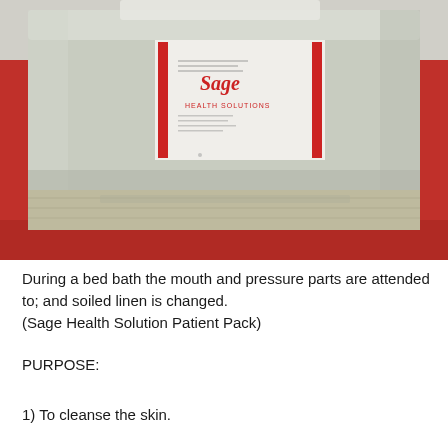[Figure (photo): A large plastic bag labeled 'Sage Health Solutions' containing patient pack items, placed on what appears to be a red surface or bed. The bag is white/translucent with red accents on the label, and there are folded linens visible beneath it.]
During a bed bath the mouth and pressure parts are attended to; and soiled linen is changed. (Sage Health Solution Patient Pack)
PURPOSE:
1) To cleanse the skin.